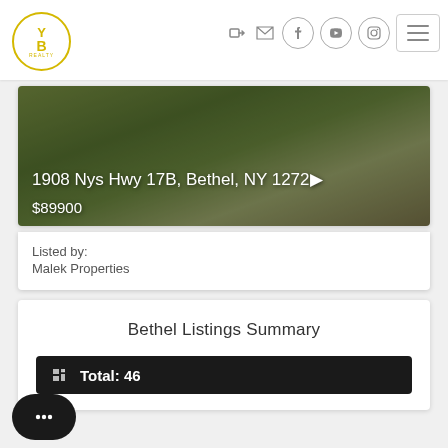[Figure (screenshot): Website header with YB logo circle in gold and navigation icons]
[Figure (photo): Property photo showing grassy landscape with trees. Address: 1908 Nys Hwy 17B, Bethel, NY 1272... Price: $89900]
Listed by:
Malek Properties
Bethel Listings Summary
Total: 46